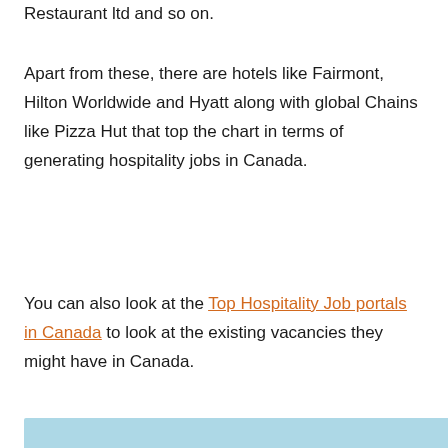Restaurant ltd and so on.
Apart from these, there are hotels like Fairmont, Hilton Worldwide and Hyatt along with global Chains like Pizza Hut that top the chart in terms of generating hospitality jobs in Canada.
You can also look at the Top Hospitality Job portals in Canada to look at the existing vacancies they might have in Canada.